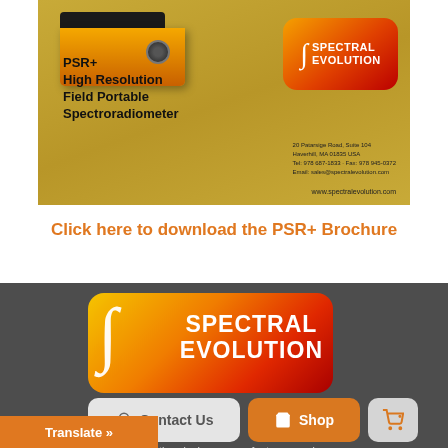[Figure (photo): PSR+ High Resolution Field Portable Spectroradiometer product brochure cover image with Spectral Evolution logo badge, olive/tan background, instrument silhouette at top left]
Click here to download the PSR+ Brochure
[Figure (logo): Spectral Evolution large logo with gradient orange-red rounded rectangle, wave/integral symbol, SPECTRAL EVOLUTION text in white, with Contact Us, Shop, and cart buttons below]
Spectral Evolution designs, manufactures, and high-end UV-VIS-NIR spectrometers spectroradiometers. Our rugged and